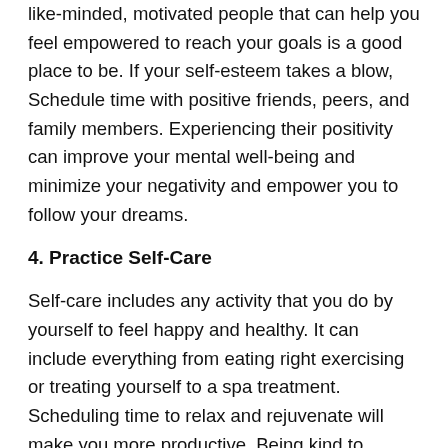like-minded, motivated people that can help you feel empowered to reach your goals is a good place to be. If your self-esteem takes a blow, Schedule time with positive friends, peers, and family members. Experiencing their positivity can improve your mental well-being and minimize your negativity and empower you to follow your dreams.
4. Practice Self-Care
Self-care includes any activity that you do by yourself to feel happy and healthy. It can include everything from eating right exercising or treating yourself to a spa treatment. Scheduling time to relax and rejuvenate will make you more productive. Being kind to yourself and help you be confident you wereBeing kind to yourself and help you
be confident you wereBeing kind to yourself and help you be confident you wereBeing kind to yourself and help you be confident you wereBeing kind to yourself and help you